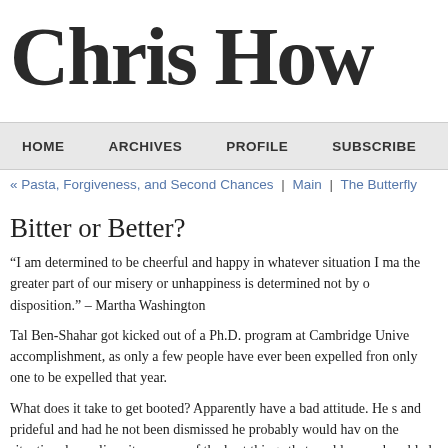Chris How
HOME | ARCHIVES | PROFILE | SUBSCRIBE
« Pasta, Forgiveness, and Second Chances | Main | The Butterfly
Bitter or Better?
“I am determined to be cheerful and happy in whatever situation I ma the greater part of our misery or unhappiness is determined not by o disposition.” – Martha Washington
Tal Ben-Shahar got kicked out of a Ph.D. program at Cambridge Unive accomplishment, as only a few people have ever been expelled from only one to be expelled that year.
What does it take to get booted? Apparently have a bad attitude. He s and prideful and had he not been dismissed he probably would hav on the situation, he realizes it was one of the best things that could p was humbled by the experience and now realizes the growth that er